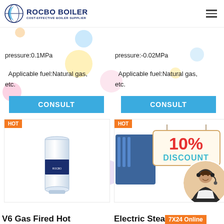[Figure (logo): Rocbo Boiler logo with crescent icon, text: ROCBO BOILER, COST-EFFECTIVE BOILER SUPPLIER]
pressure:0.1MPa
pressure:-0.02MPa
Applicable fuel:Natural gas, etc.
Applicable fuel:Natural gas, etc.
CONSULT
CONSULT
[Figure (photo): V6 Gas Fired Hot Water Boiler product image — white and blue cylindrical boiler unit with HOT badge]
[Figure (photo): Electric Steam product area with 10% DISCOUNT promotional overlay, customer service agent with headset, 7X24 Online label, HOT badge]
V6 Gas Fired Hot
Electric Steam